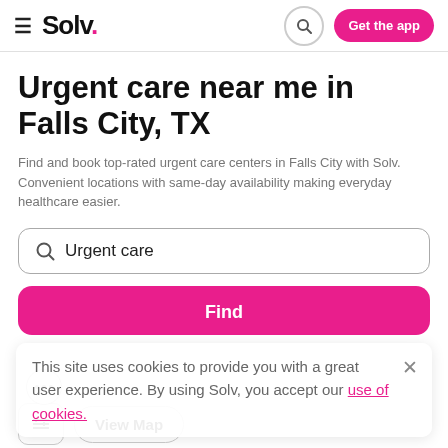Solv. — Get the app
Urgent care near me in Falls City, TX
Find and book top-rated urgent care centers in Falls City with Solv. Convenient locations with same-day availability making everyday healthcare easier.
Urgent care
Find
This site uses cookies to provide you with a great user experience. By using Solv, you accept our use of cookies.
View Map